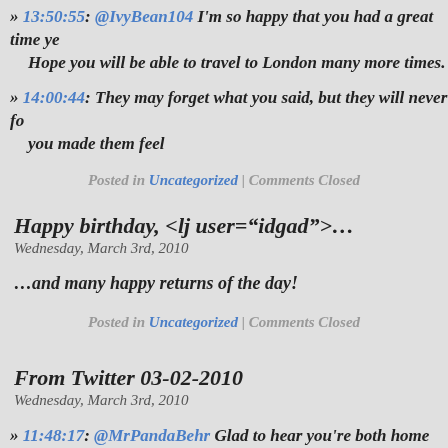» 13:50:55: @IvyBean104 I'm so happy that you had a great time ye... Hope you will be able to travel to London many more times.
» 14:00:44: They may forget what you said, but they will never fo... you made them feel
Posted in Uncategorized | Comments Closed
Happy birthday, <lj user="idgad">&#8230;
Wednesday, March 3rd, 2010
…and many happy returns of the day!
Posted in Uncategorized | Comments Closed
From Twitter 03-02-2010
Wednesday, March 3rd, 2010
» 11:48:17: @MrPandaBehr Glad to hear you're both home safe and... Sleep tight now!
» 15:33:00: @hungskateboy nice shorts; great contents of shorts.
» 21:46:26: @qrius1ne I think you should–you are all three very ha... men.
Tweets copied by twittinesis.com